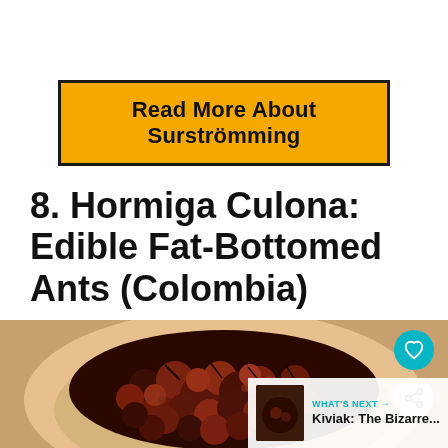Read More About Surströmming
8. Hormiga Culona: Edible Fat-Bottomed Ants (Colombia)
[Figure (photo): A glass bowl filled with roasted fat-bottomed ants (Hormiga Culona), dark reddish-brown in color, held by a hand with a blurred background.]
WHAT'S NEXT → Kiviak: The Bizarre...